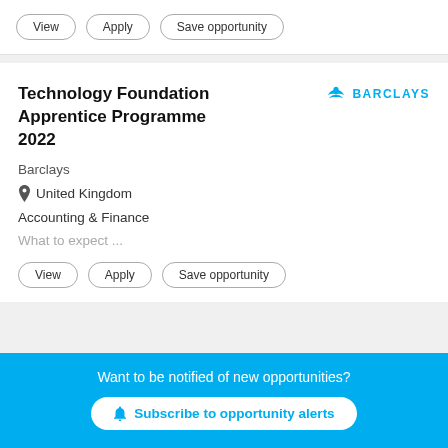View | Apply | Save opportunity
Technology Foundation Apprentice Programme 2022
[Figure (logo): Barclays logo with eagle symbol in blue and BARCLAYS text in blue capitals]
Barclays
United Kingdom
Accounting & Finance
What to expect ...
View | Apply | Save opportunity
Want to be notified of new opportunities?
Subscribe to opportunity alerts